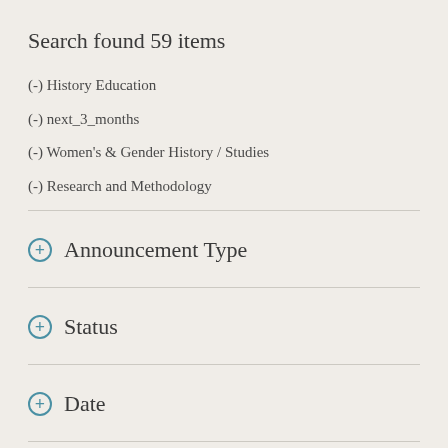Search found 59 items
(-) History Education
(-) next_3_months
(-) Women's & Gender History / Studies
(-) Research and Methodology
+ Announcement Type
+ Status
+ Date
+ Country
+ State